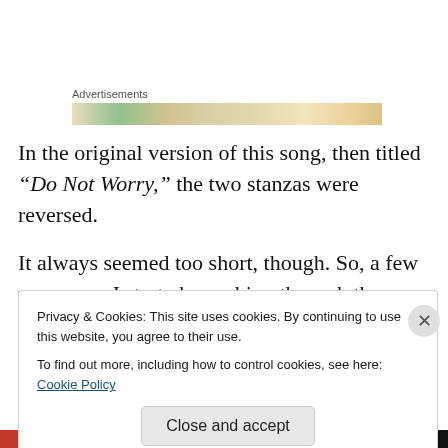Advertisements
[Figure (illustration): Advertisement banner with colorful background (greens, tans, oranges)]
In the original version of this song, then titled “Do Not Worry,” the two stanzas were reversed.
It always seemed too short, though. So, a few years ago, I started searching through the Bible for some related ideas. Finding enough appropriate Scriptures wasn’t a problem, but finding too many.
Privacy & Cookies: This site uses cookies. By continuing to use this website, you agree to their use.
To find out more, including how to control cookies, see here: Cookie Policy
Close and accept